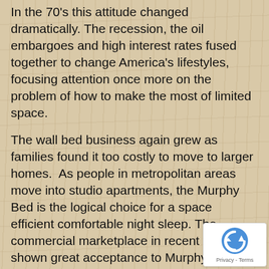In the 70's this attitude changed dramatically. The recession, the oil embargoes and high interest rates fused together to change America's lifestyles, focusing attention once more on the problem of how to make the most of limited space.
The wall bed business again grew as families found it too costly to move to larger homes. As people in metropolitan areas move into studio apartments, the Murphy Bed is the logical choice for a space efficient comfortable night sleep. The commercial marketplace in recent years has shown great acceptance to Murphy beds in such applications as Fire Houses, Hospitals, Dormitories and Hotels.
Homeowners are converting bedrooms to dens, computer rooms or home offices incorporating the Murphy bed with entire wall systems for storage.